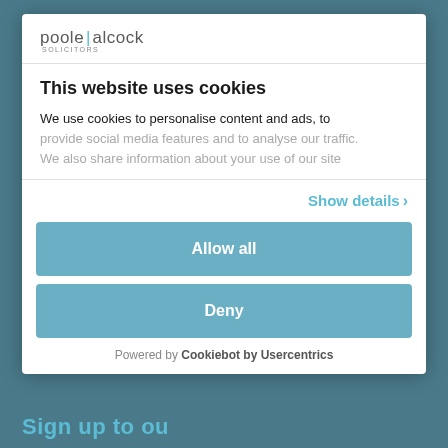[Figure (logo): Poole Alcock Solicitors logo — text-based logo with 'poole|alcock' and 'SOLICITORS' subtitle]
This website uses cookies
We use cookies to personalise content and ads, to provide social media features and to analyse our traffic. We also share information about your use of our site
Show details ›
Allow all
Deny
Powered by Cookiebot by Usercentrics
Sign up to ou